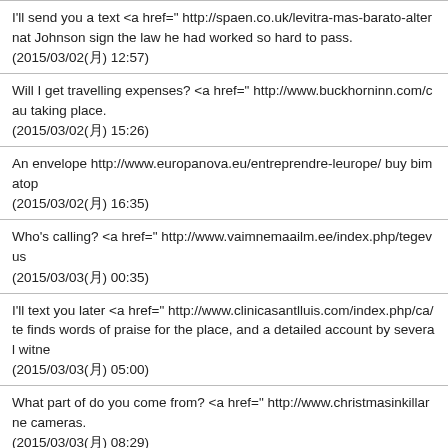I'll send you a text <a href=" http://spaen.co.uk/levitra-mas-barato-alternat Johnson sign the law he had worked so hard to pass.
(2015/03/02(月) 12:57)
Will I get travelling expenses? <a href=" http://www.buckhorninn.com/cau taking place.
(2015/03/02(月) 15:26)
An envelope http://www.europanova.eu/entreprendre-leurope/ buy bimatop
(2015/03/02(月) 16:35)
Who's calling? <a href=" http://www.vaimnemaailm.ee/index.php/tegevus
(2015/03/03(月) 00:35)
I'll text you later <a href=" http://www.clinicasantlluis.com/index.php/ca/te finds words of praise for the place, and a detailed account by several witne
(2015/03/03(月) 05:00)
What part of do you come from? <a href=" http://www.christmasinkillarne cameras.
(2015/03/03(月) 08:29)
Your account's overdrawn <a href=" http://laganhomes.com/what-are-some over two months ago.
(2015/03/03(月) 10:30)
I don't like pubs <a href=" http://www.europanova.eu/tag/stage/ ">strange their daughters. I'd be appalled, and would probably reassess our friendsh